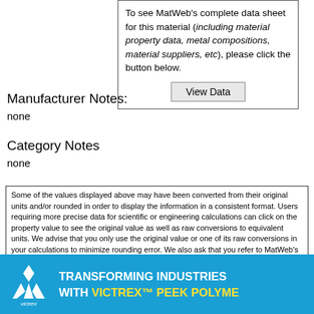To see MatWeb's complete data sheet for this material (including material property data, metal compositions, material suppliers, etc), please click the button below.
View Data
Manufacturer Notes:
none
Category Notes
none
Some of the values displayed above may have been converted from their original units and/or rounded in order to display the information in a consistent format. Users requiring more precise data for scientific or engineering calculations can click on the property value to see the original value as well as raw conversions to equivalent units. We advise that you only use the original value or one of its raw conversions in your calculations to minimize rounding error. We also ask that you refer to MatWeb's terms of use regarding this information. Click here to view all the property values for this datasheet as they were originally entered into MatWeb.
[Figure (infographic): Victrex banner advertisement with logo and text: TRANSFORMING INDUSTRIES WITH VICTREX PEEK POLYME (partially visible)]